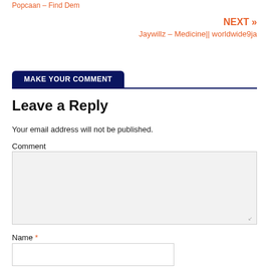Popcaan – Find Dem
NEXT » Jaywillz – Medicine|| worldwide9ja
MAKE YOUR COMMENT
Leave a Reply
Your email address will not be published.
Comment
Name *